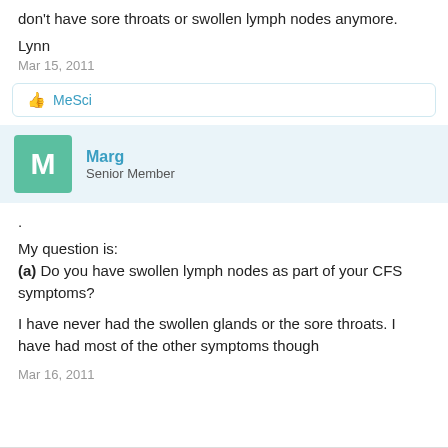don't have sore throats or swollen lymph nodes anymore.
Lynn
Mar 15, 2011
👍 MeSci
Marg
Senior Member
.
My question is:
(a) Do you have swollen lymph nodes as part of your CFS symptoms?
I have never had the swollen glands or the sore throats. I have had most of the other symptoms though
Mar 16, 2011